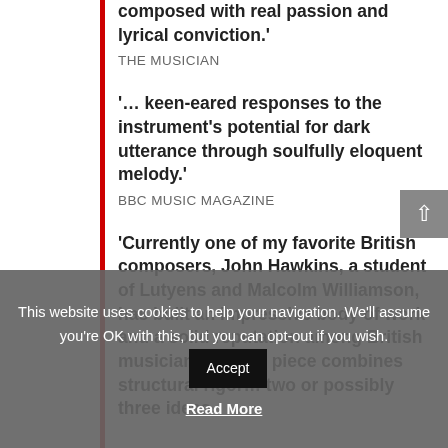composed with real passion and lyrical conviction.'
THE MUSICIAN
'… keen-eared responses to the instrument's potential for dark utterance through soulfully eloquent melody.'
BBC MUSIC MAGAZINE
'Currently one of my favorite British composers, John Hawkins, a student of Lutyens and Malcolm Williamson, has built an impressive body of work and a solid reputation among British musicians … This piece combines structural rigor… two or possibly three ideas
This website uses cookies to help your navigation. We'll assume you're OK with this, but you can opt-out if you wish.
Accept
Read More